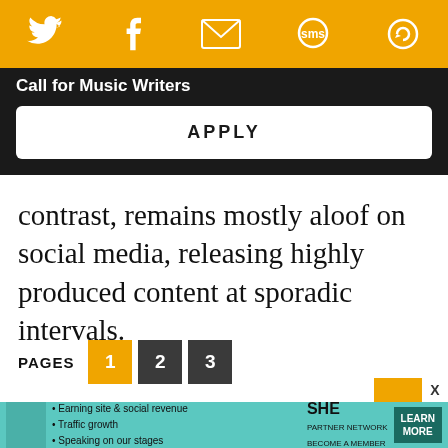[Figure (screenshot): Orange top navigation bar with social media icons: Twitter bird, Facebook f, envelope/email, SMS speech bubble, and a circular arrow/refresh icon, all white on orange background]
Call for Music Writers
APPLY
contrast, remains mostly aloof on social media, releasing highly produced content at sporadic intervals.
PAGES  1  2  3
TAGS  big machine  country  music feature  pop  pop music  pop stars  reputation tour
[Figure (screenshot): Advertisement banner for SHE Partner Network featuring a woman, bullet points about earning site and social revenue, traffic growth, speaking on stages, and a LEARN MORE button]